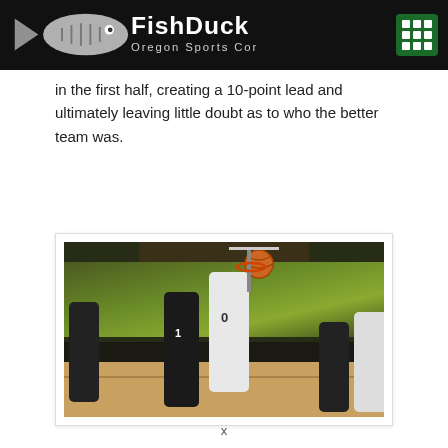FishDuck Oregon Sports Community
in the first half, creating a 10-point lead and ultimately leaving little doubt as to who the better team was.
[Figure (photo): Basketball game action photo showing players near the basket, one player in white jersey number 0 shooting over a defender in dark jersey number 1, with a packed crowd in green and yellow in the background.]
x